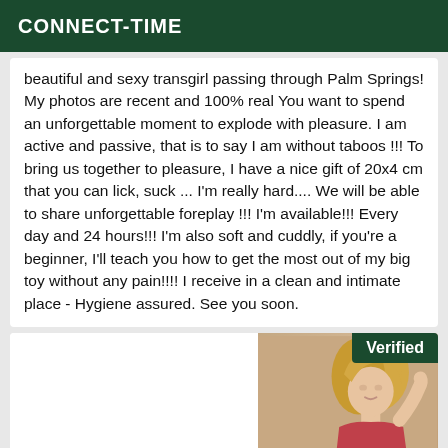CONNECT-TIME
beautiful and sexy transgirl passing through Palm Springs! My photos are recent and 100% real You want to spend an unforgettable moment to explode with pleasure. I am active and passive, that is to say I am without taboos !!! To bring us together to pleasure, I have a nice gift of 20x4 cm that you can lick, suck ... I'm really hard.... We will be able to share unforgettable foreplay !!! I'm available!!! Every day and 24 hours!!! I'm also soft and cuddly, if you're a beginner, I'll teach you how to get the most out of my big toy without any pain!!!! I receive in a clean and intimate place - Hygiene assured. See you soon.
[Figure (photo): Photo of a blonde woman in a red outfit, with a Verified badge in the top right corner]